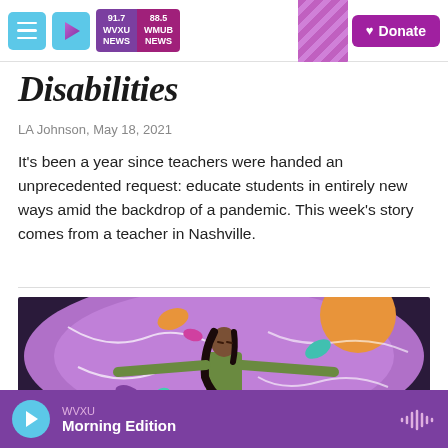WVXU 91.7 NEWS | WMUB 88.5 NEWS | Donate
Disabilities
LA Johnson, May 18, 2021
It's been a year since teachers were handed an unprecedented request: educate students in entirely new ways amid the backdrop of a pandemic. This week's story comes from a teacher in Nashville.
[Figure (illustration): Illustration of a woman with long dark hair and arms outstretched wide, surrounded by swirling purple patterns, colorful abstract shapes (orange, magenta, teal), and a large orange circle in the background, on a purple textured background.]
WVXU Morning Edition